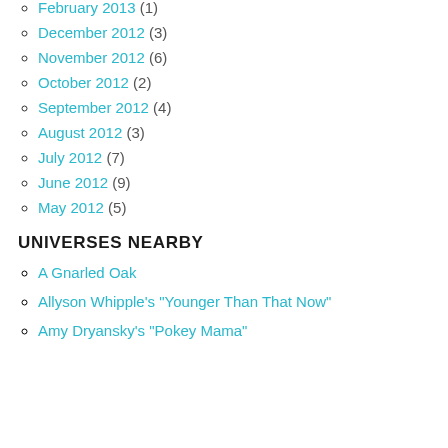February 2013 (1)
December 2012 (3)
November 2012 (6)
October 2012 (2)
September 2012 (4)
August 2012 (3)
July 2012 (7)
June 2012 (9)
May 2012 (5)
UNIVERSES NEARBY
A Gnarled Oak
Allyson Whipple's "Younger Than That Now"
Amy Dryansky's "Pokey Mama"